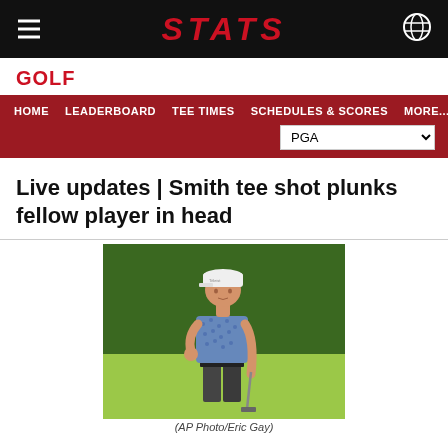STATS
GOLF
HOME  LEADERBOARD  TEE TIMES  SCHEDULES & SCORES  MORE...  PGA
Live updates | Smith tee shot plunks fellow player in head
[Figure (photo): A golfer wearing a patterned blue shirt and white Titleist cap, holding a putter, standing on a green golf course]
(AP Photo/Eric Gay)